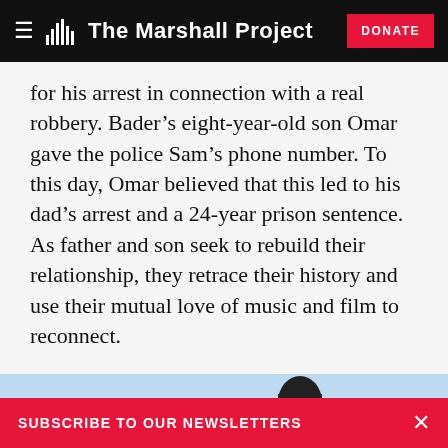The Marshall Project
for his arrest in connection with a real robbery. Bader's eight-year-old son Omar gave the police Sam's phone number. To this day, Omar believed that this led to his dad's arrest and a 24-year prison sentence. As father and son seek to rebuild their relationship, they retrace their history and use their mutual love of music and film to reconnect.
[Figure (photo): Partial view of a person's head against a light blue sky background]
SUBSCRIBE TO OUR NEWSLETTERS